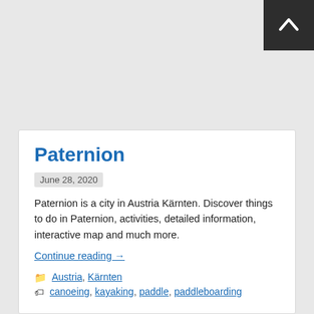[Figure (other): Back-to-top button: dark square with white upward chevron arrow in top-right corner]
Paternion
June 28, 2020
Paternion is a city in Austria Kärnten. Discover things to do in Paternion, activities, detailed information, interactive map and much more.
Continue reading →
Austria, Kärnten
canoeing, kayaking, paddle, paddleboarding